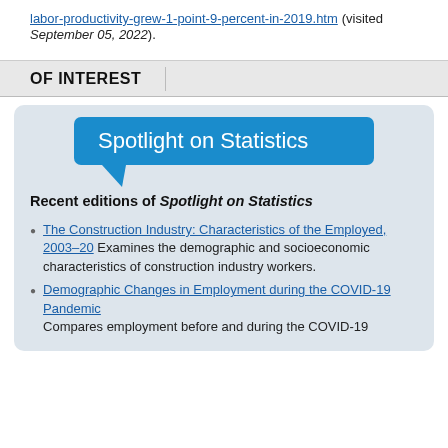labor-productivity-grew-1-point-9-percent-in-2019.htm (visited September 05, 2022).
OF INTEREST
[Figure (other): Blue speech bubble banner with white text reading 'Spotlight on Statistics']
Recent editions of Spotlight on Statistics
The Construction Industry: Characteristics of the Employed, 2003–20 Examines the demographic and socioeconomic characteristics of construction industry workers.
Demographic Changes in Employment during the COVID-19 Pandemic Compares employment before and during the COVID-19 pandemic for employees and for different racial and...